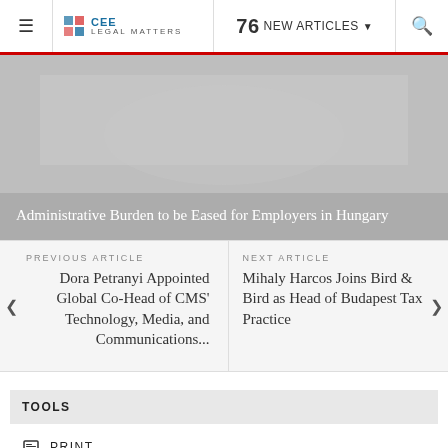≡  CEE Legal Matters  76 NEW ARTICLES ∨  🔍
Administrative Burden to be Eased for Employers in Hungary
PREVIOUS ARTICLE
Dora Petranyi Appointed Global Co-Head of CMS' Technology, Media, and Communications...
NEXT ARTICLE
Mihaly Harcos Joins Bird & Bird as Head of Budapest Tax Practice
TOOLS
PRINT